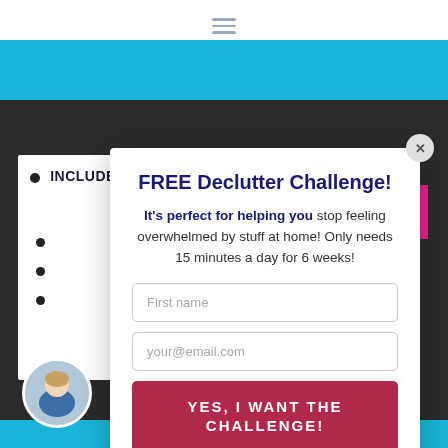[Figure (screenshot): Website screenshot with a modal popup overlay showing a FREE Declutter Challenge opt-in form over a dark chalkboard background with blue and pink accents.]
INCLUDES LIST OF FREE
FREE Declutter Challenge!
It's perfect for helping you stop feeling overwhelmed by stuff at home! Only needs 15 minutes a day for 6 weeks!
First name
your@email.com
YES, I WANT THE CHALLENGE!